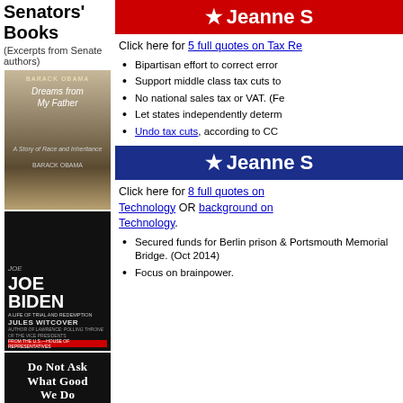Senators' Books
(Excerpts from Senate authors)
[Figure (photo): Book cover: Dreams from My Father by Barack Obama]
[Figure (photo): Book cover: Joe Biden: A Life of Trial and Redemption by Jules Witcover]
[Figure (photo): Book cover: Do Not Ask What Good We Do by Robert Draper]
[Figure (illustration): Red banner with star and text: Jeanne S]
Click here for 5 full quotes on Tax Re
Bipartisan effort to correct error
Support middle class tax cuts to
No national sales tax or VAT. (Fe
Let states independently determ
Undo tax cuts, according to CC
[Figure (illustration): Blue banner with star and text: Jeanne S]
Click here for 8 full quotes on Technology OR background on Technology.
Secured funds for Berlin prison & Portsmouth Memorial Bridge. (Oct 2014)
Focus on brainpower.